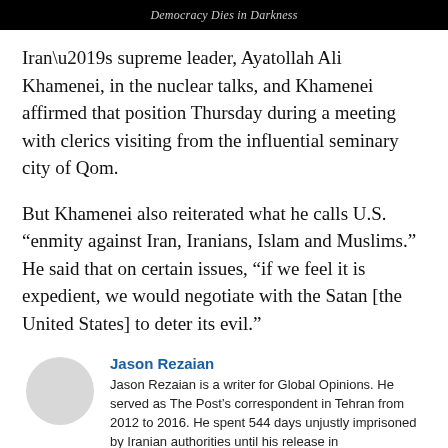Democracy Dies in Darkness
Iran’s supreme leader, Ayatollah Ali Khamenei, in the nuclear talks, and Khamenei affirmed that position Thursday during a meeting with clerics visiting from the influential seminary city of Qom.
But Khamenei also reiterated what he calls U.S. “enmity against Iran, Iranians, Islam and Muslims.” He said that on certain issues, “if we feel it is expedient, we would negotiate with the Satan [the United States] to deter its evil.”
Jason Rezaian
Jason Rezaian is a writer for Global Opinions. He served as The Post’s correspondent in Tehran from 2012 to 2016. He spent 544 days unjustly imprisoned by Iranian authorities until his release in